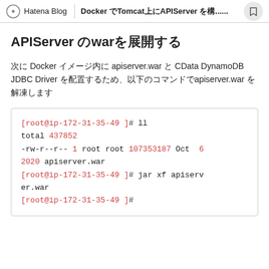Hatena Blog | Docker でTomcat上にAPIServer を構築...
APIServer のwarを展開する
次に Docker イメージ内に apiserver.war と CData DynamoDB JDBC Driver を配置するため、以下のコマンドでapiserver.war を解凍します
[Figure (screenshot): Terminal code block showing: [root@ip-172-31-35-49 ]# ll / total 437852 / -rw-r--r-- 1 root root 107353187 Oct 6 / 2020 apiserver.war / [root@ip-172-31-35-49 ]# jar xf apiserver.war / [root@ip-172-31-35-49 ]#]